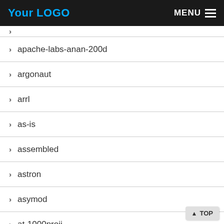Your LOGO  MENU
apache-labs-anan-200d
argonaut
arrl
as-is
assembled
astron
asymod
at-1000proii
at-100proii
at-600proii
at-d578uv